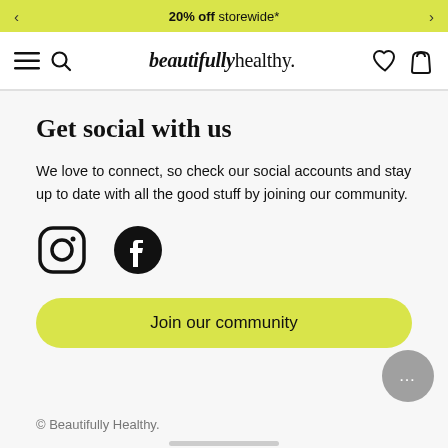20% off storewide*
beautifullyhealthy.
Get social with us
We love to connect, so check our social accounts and stay up to date with all the good stuff by joining our community.
[Figure (logo): Instagram and Facebook social media icons]
[Figure (other): Join our community button (yellow/lime pill-shaped button)]
© Beautifully Healthy.